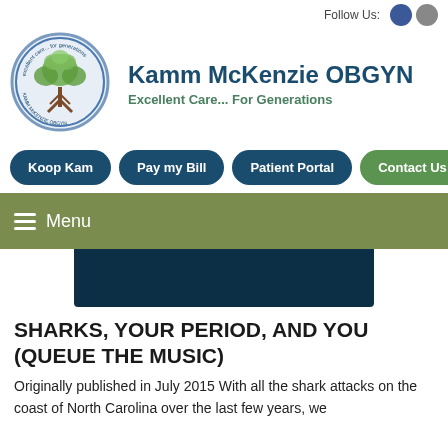Follow Us:
[Figure (logo): Kamm McKenzie OBGYN circular logo with tree graphic and text 'excellent care... for generations' around the border]
Kamm McKenzie OBGYN
Excellent Care... For Generations
Koop Kam | Pay my Bill | Patient Portal | Contact Us
Menu
[Figure (photo): Dark teal/navy background image, partial view of what appears to be an ocean or underwater scene]
SHARKS, YOUR PERIOD, AND YOU (QUEUE THE MUSIC)
Originally published in July 2015 With all the shark attacks on the coast of North Carolina over the last few years, we